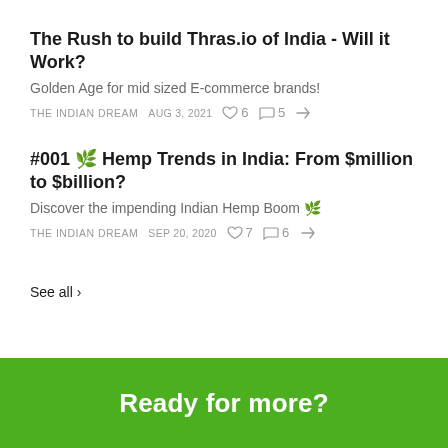The Rush to build Thras.io of India - Will it Work?
Golden Age for mid sized E-commerce brands!
THE INDIAN DREAM   AUG 3, 2021   ♡ 6   ○ 5   ↗
#001 🌿 Hemp Trends in India: From $million to $billion?
Discover the impending Indian Hemp Boom 🌿
THE INDIAN DREAM   SEP 20, 2020   ♡ 7   ○ 6   ↗
See all ›
Ready for more?